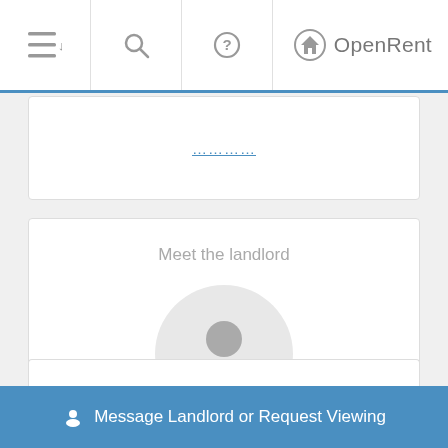OpenRent
Meet the landlord
[Figure (illustration): Circular avatar placeholder with a generic person silhouette icon in grey on a light grey circle background]
Jenny W.
Response Rate: 52%
Response Time: Within 3 Days
Message Landlord or Request Viewing